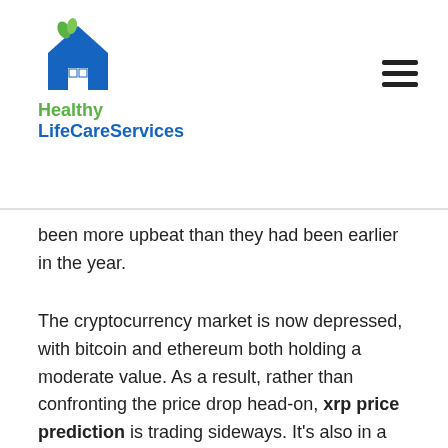Healthy LifeCareServices
been more upbeat than they had been earlier in the year.
The cryptocurrency market is now depressed, with bitcoin and ethereum both holding a moderate value. As a result, rather than confronting the price drop head-on, xrp price prediction is trading sideways. It's also in a stronger position to consolidate rather than sell-off at its current valuation. Despite the continuous volatility, the digital token's value has remained above the US$1.15 barrier